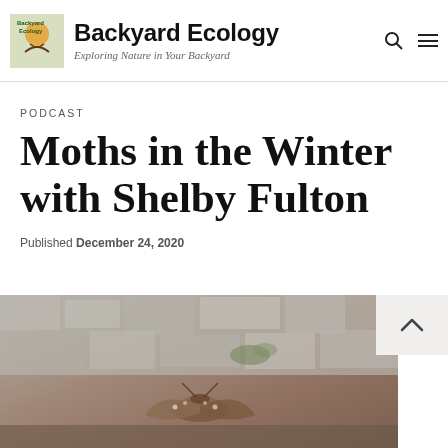Backyard Ecology – Exploring Nature in Your Backyard
PODCAST
Moths in the Winter with Shelby Fulton
Published December 24, 2020
[Figure (photo): Close-up photograph of a moth resting on a rough stone or concrete wall surface, with brownish wing coloring against grey textured background]